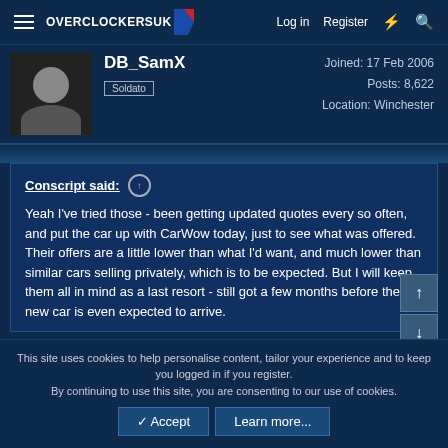Overclockers UK — Log in | Register
DB_SamX
Soldato
Joined: 17 Feb 2006
Posts: 8,622
Location: Winchester
Conscript said:
Yeah I've tried those - been getting updated quotes every so often, and put the car up with CarWow today, just to see what was offered.
Their offers are a little lower than what I'd want, and much lower than similar cars selling privately, which is to be expected. But I will keep them all in mind as a last resort - still got a few months before the new car is even expected to arrive.
Had forgotten to take down my PH ad so got a punter today (only 4 in 3 weeks) but I sent him a link to yours on the gt86 forum. Nothing to lose.
This site uses cookies to help personalise content, tailor your experience and to keep you logged in if you register.
By continuing to use this site, you are consenting to our use of cookies.